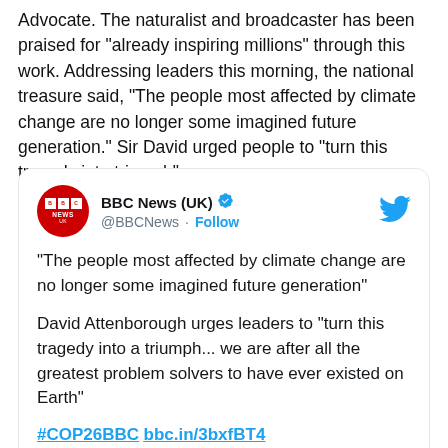Advocate. The naturalist and broadcaster has been praised for "already inspiring millions" through this work. Addressing leaders this morning, the national treasure said, "The people most affected by climate change are no longer some imagined future generation." Sir David urged people to "turn this tragedy into triumph".
[Figure (screenshot): Embedded tweet from BBC News (UK) @BBCNews with verified badge and Follow link. Tweet content: "The people most affected by climate change are no longer some imagined future generation" — David Attenborough urges leaders to "turn this tragedy into a triumph... we are after all the greatest problem solvers to have ever existed on Earth" — #COP26BBC bbc.in/3bxfBT4]